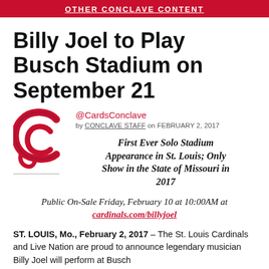OTHER CONCLAVE CONTENT
Billy Joel to Play Busch Stadium on September 21
@CardsConclave
by CONCLAVE STAFF on FEBRUARY 2, 2017
First Ever Solo Stadium Appearance in St. Louis; Only Show in the State of Missouri in 2017
Public On-Sale Friday, February 10 at 10:00AM at cardinals.com/billyjoel
ST. LOUIS, Mo., February 2, 2017 – The St. Louis Cardinals and Live Nation are proud to announce legendary musician Billy Joel will perform at Busch